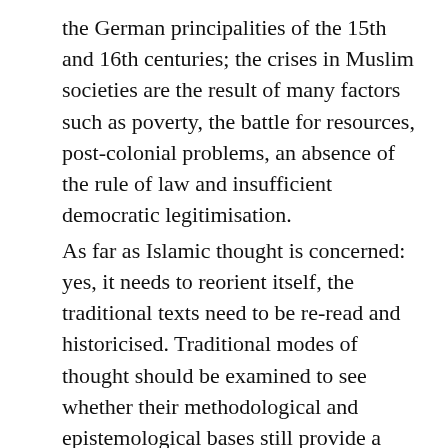the German principalities of the 15th and 16th centuries; the crises in Muslim societies are the result of many factors such as poverty, the battle for resources, post-colonial problems, an absence of the rule of law and insufficient democratic legitimisation. As far as Islamic thought is concerned: yes, it needs to reorient itself, the traditional texts need to be re-read and historicised. Traditional modes of thought should be examined to see whether their methodological and epistemological bases still provide a firm foundation today. Not just the content, but the processes by which we engage with the content need to be re-examined. There needs to be some thought given to whether the positions